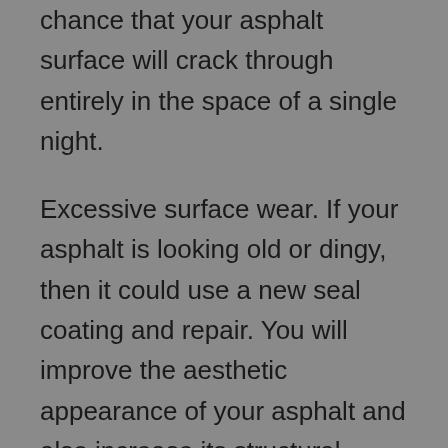chance that your asphalt surface will crack through entirely in the space of a single night.
Excessive surface wear. If your asphalt is looking old or dingy, then it could use a new seal coating and repair. You will improve the aesthetic appearance of your asphalt and also increase its structural integrity. An old looking surface has also been worn down over time, and is a bigger threat to be cracked by excessive weight or falling objects. A new coat of sealant will also improve your asphalt surface's integrity during the harsh